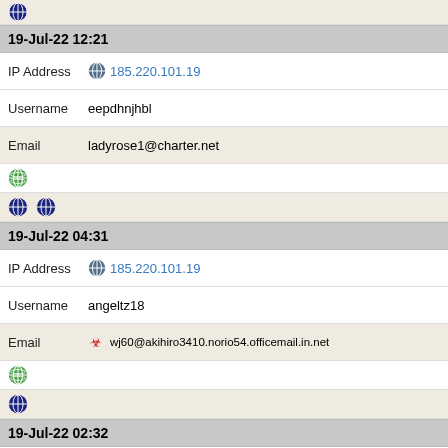[Figure (other): Tor browser icon (navy circle with globe)]
19-Jul-22 12:21
IP Address 185.220.101.19
Username eepdhnjhbl
Email ladyrose1@charter.net
[Figure (other): Green globe icon]
[Figure (other): Two Tor browser icons]
19-Jul-22 04:31
IP Address 185.220.101.19
Username angeltz18
Email wj60@akihiro3410.norio54.officemail.in.net
[Figure (other): Green globe icon]
[Figure (other): Tor browser icon]
19-Jul-22 02:32
IP Address 185.220.101.19
Username nzxaxzupdk
Email ehelton111@yahoo.com